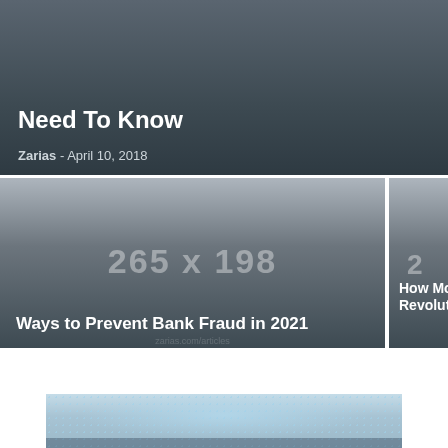Need To Know
Zarias - April 10, 2018
[Figure (photo): Article thumbnail placeholder showing '265 x 198' image dimensions text on dark gradient background]
Ways to Prevent Bank Fraud in 2021
[Figure (photo): Partial article thumbnail on right showing 'How Mode Revolution' text on dark gradient background]
[Figure (photo): Partial blue-toned photo of digital/cyber security imagery with matrix-like dot pattern]